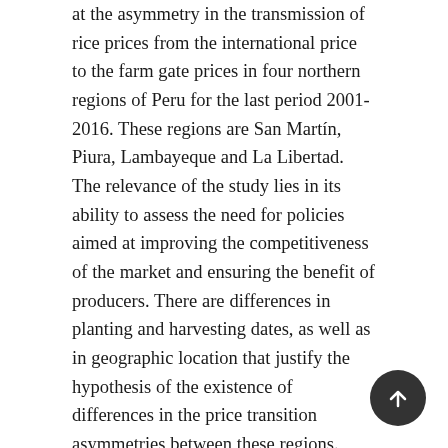at the asymmetry in the transmission of rice prices from the international price to the farm gate prices in four northern regions of Peru for the last period 2001-2016. These regions are San Martín, Piura, Lambayeque and La Libertad. The relevance of the study lies in its ability to assess the need for policies aimed at improving the competitiveness of the market and ensuring the benefit of producers. There are differences in planting and harvesting dates, as well as in geographic location that justify the hypothesis of the existence of differences in the price transition asymmetries between these regions. Those differences are due to at least three factors geography, infrastructure development, and distribution systems. For this, the Threshold Vector Error Correction Model and the Autoregressive Vector Model with Threshold are used. Both models, collect asymmetric effects in the